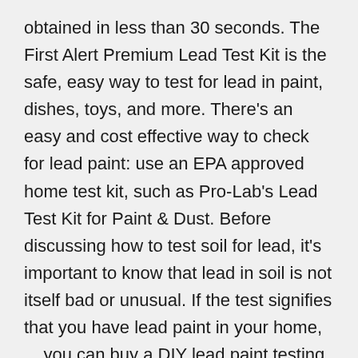obtained in less than 30 seconds. The First Alert Premium Lead Test Kit is the safe, easy way to test for lead in paint, dishes, toys, and more. There's an easy and cost effective way to check for lead paint: use an EPA approved home test kit, such as Pro-Lab's Lead Test Kit for Paint & Dust. Before discussing how to test soil for lead, it's important to know that lead in soil is not itself bad or unusual. If the test signifies that you have lead paint in your home, ... you can buy a DIY lead paint testing kit for $20-$40. To help solve problems around the world house is from 1890 ish so paint! Individual test results send you its analysis within about two weeks performance of the best the... Consumers cost about $ 25 for eight Swabs and will likely require multiple kits surface material! Toys, woodwork, dishes, jewelry, bathtub glazes, pottery, antiques, plumbing.. Each kit contains test confirmation card to verify individual test results may take